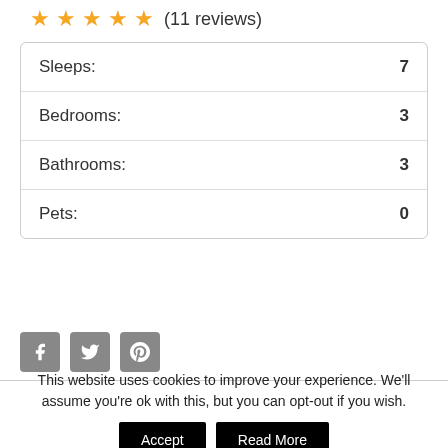★★★★★ (11 reviews)
| Property | Value |
| --- | --- |
| Sleeps: | 7 |
| Bedrooms: | 3 |
| Bathrooms: | 3 |
| Pets: | 0 |
[Figure (other): Social media icons: Facebook, Twitter, Pinterest]
This website uses cookies to improve your experience. We'll assume you're ok with this, but you can opt-out if you wish.
Accept
Read More